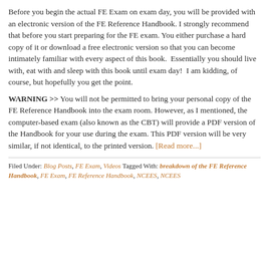Before you begin the actual FE Exam on exam day, you will be provided with an electronic version of the FE Reference Handbook. I strongly recommend that before you start preparing for the FE exam. You either purchase a hard copy of it or download a free electronic version so that you can become intimately familiar with every aspect of this book.  Essentially you should live with, eat with and sleep with this book until exam day!  I am kidding, of course, but hopefully you get the point.
WARNING >> You will not be permitted to bring your personal copy of the FE Reference Handbook into the exam room. However, as I mentioned, the computer-based exam (also known as the CBT) will provide a PDF version of the Handbook for your use during the exam. This PDF version will be very similar, if not identical, to the printed version. [Read more...]
Filed Under: Blog Posts, FE Exam, Videos Tagged With: breakdown of the FE Reference Handbook, FE Exam, FE Reference Handbook, NCEES, NCEES